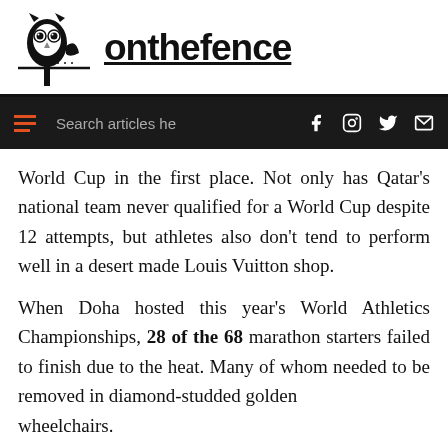[Figure (logo): Onthefence website logo with owl illustration on a fence post, and the site name 'onthefence' in bold underlined text]
Search articles he  f  [instagram]  [twitter]  [mail]
World Cup in the first place. Not only has Qatar's national team never qualified for a World Cup despite 12 attempts, but athletes also don't tend to perform well in a desert made Louis Vuitton shop.
When Doha hosted this year's World Athletics Championships, 28 of the 68 marathon starters failed to finish due to the heat. Many of whom needed to be removed in diamond-studded golden wheelchairs.